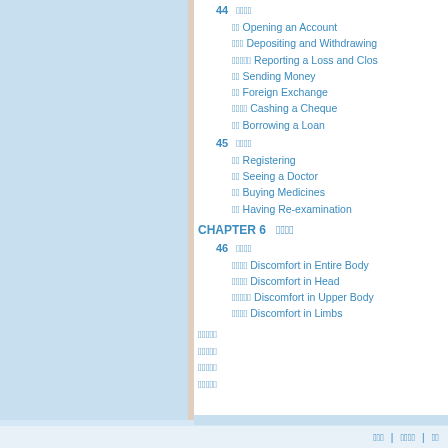44  □□□□
□□ Opening an Account
□□□ Depositing and Withdrawing
□□□□□ Reporting a Loss and Clo...
□□ Sending Money
□□ Foreign Exchange
□□□□ Cashing a Cheque
□□ Borrowing a Loan
45  □□□□
□□ Registering
□□ Seeing a Doctor
□□ Buying Medicines
□□ Having Re-examination
CHAPTER 6  □□□□
46  □□□□
□□□□ Discomfort in Entire Body
□□□□ Discomfort in Head
□□□□□ Discomfort in Upper Body
□□□□ Discomfort in Limbs
□□□□□
□□□□□
□□□□□
□□□□□
□□□ | □□□□ | □□